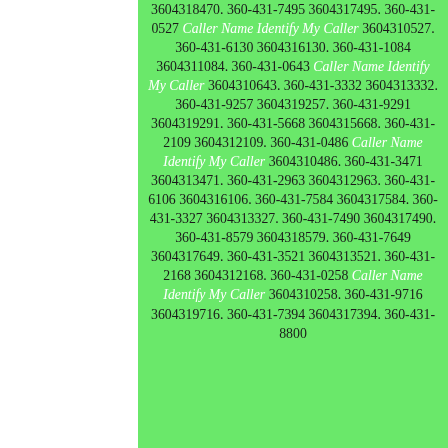3604318470. 360-431-7495 3604317495. 360-431-0527 Caller Name Identify My Caller 3604310527. 360-431-6130 3604316130. 360-431-1084 3604311084. 360-431-0643 Caller Name Identify My Caller 3604310643. 360-431-3332 3604313332. 360-431-9257 3604319257. 360-431-9291 3604319291. 360-431-5668 3604315668. 360-431-2109 3604312109. 360-431-0486 Caller Name Identify My Caller 3604310486. 360-431-3471 3604313471. 360-431-2963 3604312963. 360-431-6106 3604316106. 360-431-7584 3604317584. 360-431-3327 3604313327. 360-431-7490 3604317490. 360-431-8579 3604318579. 360-431-7649 3604317649. 360-431-3521 3604313521. 360-431-2168 3604312168. 360-431-0258 Caller Name Identify My Caller 3604310258. 360-431-9716 3604319716. 360-431-7394 3604317394. 360-431-8800